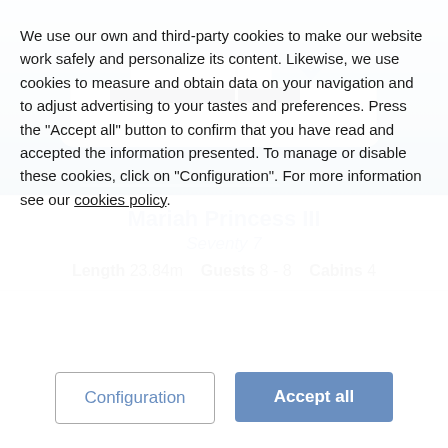[Figure (photo): White sailing catamaran (Mariah Princess III) on calm blue ocean water, viewed from the side, with a blue sky background.]
Mariah Princess III
Seventy 7
Length 23.84m   Guests 8 - 8   Cabins 4
We use our own and third-party cookies to make our website work safely and personalize its content. Likewise, we use cookies to measure and obtain data on your navigation and to adjust advertising to your tastes and preferences. Press the "Accept all" button to confirm that you have read and accepted the information presented. To manage or disable these cookies, click on "Configuration". For more information see our cookies policy.
Configuration
Accept all